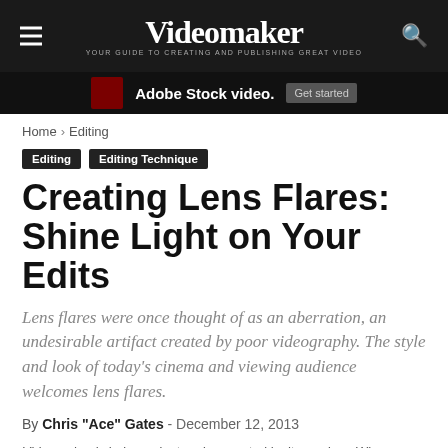Videomaker — YOUR GUIDE TO CREATING AND PUBLISHING GREAT VIDEO
[Figure (screenshot): Adobe Stock video advertisement banner with dark background]
Home › Editing
Editing  Editing Technique
Creating Lens Flares: Shine Light on Your Edits
Lens flares were once thought of as an aberration, an undesirable artifact created by poor videography. The style and look of today's cinema and viewing audience welcomes lens flares.
By Chris "Ace" Gates - December 12, 2013
Videomaker is independent and supported by its readers. When you purchase something after clicking links on this site, Videomaker may earn an affiliate